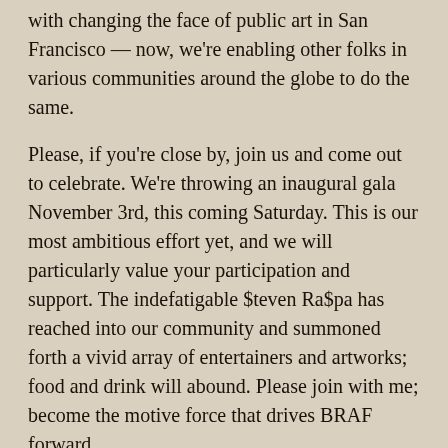with changing the face of public art in San Francisco — now, we're enabling other folks in various communities around the globe to do the same.
Please, if you're close by, join us and come out to celebrate. We're throwing an inaugural gala November 3rd, this coming Saturday. This is our most ambitious effort yet, and we will particularly value your participation and support. The indefatigable $teven Ra$pa has reached into our community and summoned forth a vivid array of entertainers and artworks; food and drink will abound. Please join with me; become the motive force that drives BRAF forward.
We'd love to see you.
Larry
Larry Harvey